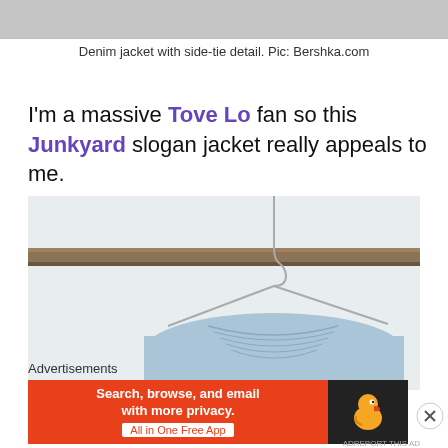[Figure (photo): Top portion of a photo showing a denim jacket, cropped at top of page]
Denim jacket with side-tie detail. Pic: Bershka.com
I'm a massive Tove Lo fan so this Junkyard slogan jacket really appeals to me.
[Figure (photo): Photo of a light blue denim jacket hanging on a wire hanger on a metal rail against a white background]
Advertisements
[Figure (screenshot): DuckDuckGo advertisement banner: 'Search, browse, and email with more privacy. All in One Free App' with DuckDuckGo duck logo on dark background]